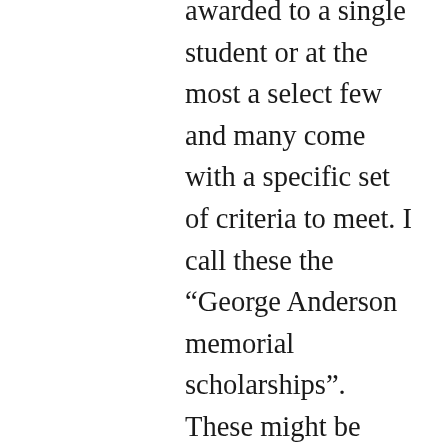awarded to a single student or at the most a select few and many come with a specific set of criteria to meet. I call these the “George Anderson memorial scholarships”. These might be awarded to a single student majoring in a specific field and meeting some other criteria. The ACT might help in getting these scholarships, but it has very hard to count on receiving any of these as there are so few recipients. By far the biggest source of scholarship dollars is awarded simply based on your GPA and/or ACT. Many schools even automatically award